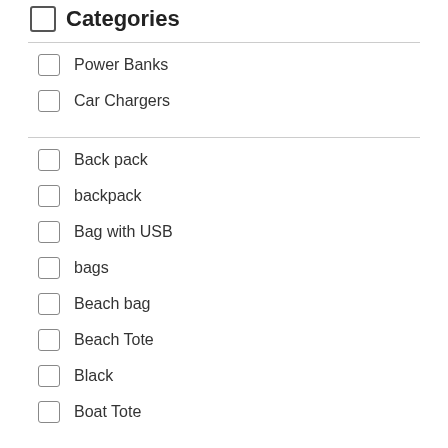Categories
Power Banks
Car Chargers
Back pack
backpack
Bag with USB
bags
Beach bag
Beach Tote
Black
Boat Tote